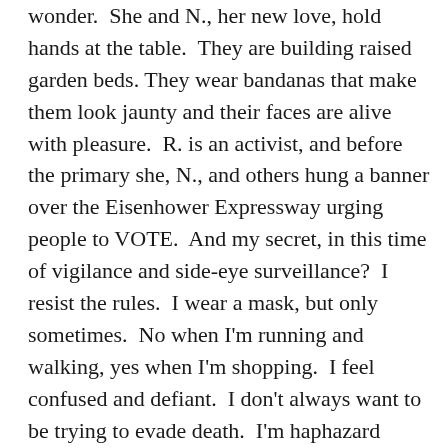wonder.  She and N., her new love, hold hands at the table.  They are building raised garden beds. They wear bandanas that make them look jaunty and their faces are alive with pleasure.  R. is an activist, and before the primary she, N., and others hung a banner over the Eisenhower Expressway urging people to VOTE.  And my secret, in this time of vigilance and side-eye surveillance?  I resist the rules.  I wear a mask, but only sometimes.  No when I'm running and walking, yes when I'm shopping.  I feel confused and defiant.  I don't always want to be trying to evade death.  I'm haphazard about wiping down surfaces with alcohol.  Today I opened the FedEx box without doing so, while last night I wiped down the kitchen table, the counter tops, the light switches, the refrigerator handle, and the cabinet knobs.  There's no logic to any of this.  Perhaps my biggest secret is that I have a doppelgänger.  Someone who's already sick, whom I've never met.  He's a well-